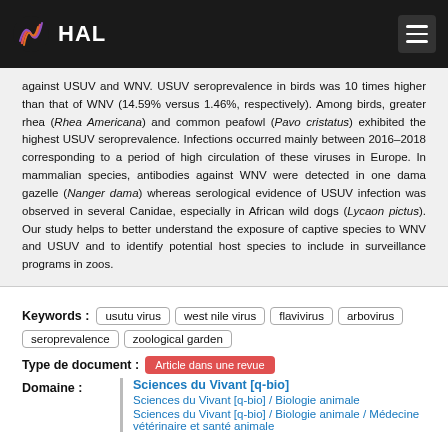HAL
against USUV and WNV. USUV seroprevalence in birds was 10 times higher than that of WNV (14.59% versus 1.46%, respectively). Among birds, greater rhea (Rhea Americana) and common peafowl (Pavo cristatus) exhibited the highest USUV seroprevalence. Infections occurred mainly between 2016–2018 corresponding to a period of high circulation of these viruses in Europe. In mammalian species, antibodies against WNV were detected in one dama gazelle (Nanger dama) whereas serological evidence of USUV infection was observed in several Canidae, especially in African wild dogs (Lycaon pictus). Our study helps to better understand the exposure of captive species to WNV and USUV and to identify potential host species to include in surveillance programs in zoos.
Keywords: usutu virus, west nile virus, flavivirus, arbovirus, seroprevalence, zoological garden
Type de document : Article dans une revue
Domaine : Sciences du Vivant [q-bio] / Sciences du Vivant [q-bio] / Biologie animale / Sciences du Vivant [q-bio] / Biologie animale / Médecine vétérinaire et santé animale